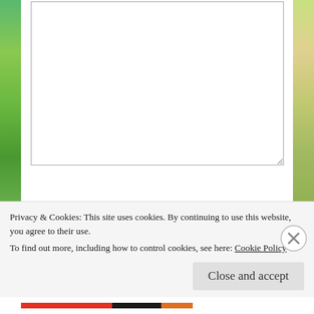[Figure (screenshot): Large comment text area input box at the top of a web form]
NAME *
[Figure (screenshot): Name input field]
EMAIL *
[Figure (screenshot): Email input field]
WEBSITE
[Figure (screenshot): Website input field]
Privacy & Cookies: This site uses cookies. By continuing to use this website, you agree to their use.
To find out more, including how to control cookies, see here: Cookie Policy
Close and accept